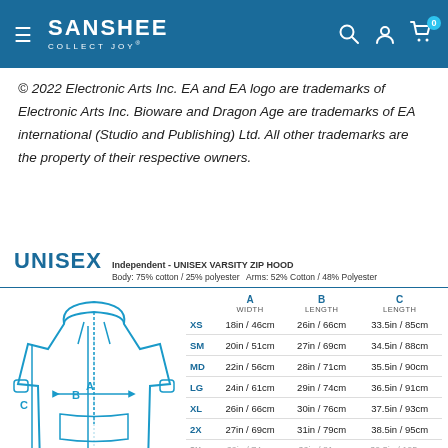SANSHEE COLLECT JOY — navigation header
© 2022 Electronic Arts Inc. EA and EA logo are trademarks of Electronic Arts Inc. Bioware and Dragon Age are trademarks of EA international (Studio and Publishing) Ltd. All other trademarks are the property of their respective owners.
UNISEX Independent - UNISEX VARSITY ZIP HOOD Body: 75% cotton / 25% polyester  Arms: 52% Cotton / 48% Polyester
[Figure (illustration): Line drawing diagram of a zip hoodie with measurement labels A (width), B (body length), C (sleeve length)]
|  | A WIDTH | B LENGTH | C LENGTH |
| --- | --- | --- | --- |
| XS | 18in / 46cm | 26in / 66cm | 33.5in / 85cm |
| SM | 20in / 51cm | 27in / 69cm | 34.5in / 88cm |
| MD | 22in / 56cm | 28in / 71cm | 35.5in / 90cm |
| LG | 24in / 61cm | 29in / 74cm | 36.5in / 91cm |
| XL | 26in / 66cm | 30in / 76cm | 37.5in / 93cm |
| 2X | 27in / 69cm | 31in / 79cm | 38.5in / 95cm |
| 3X | 29in / 74cm | 32in / 81cm | 39.5in / 105cm |